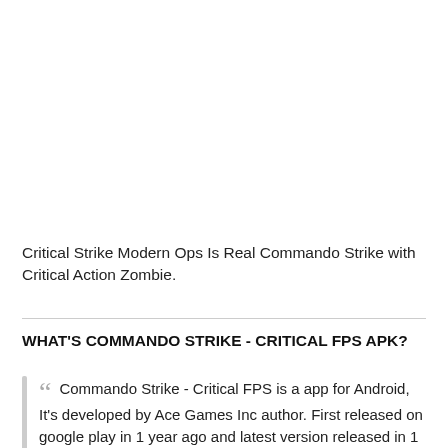Critical Strike Modern Ops Is Real Commando Strike with Critical Action Zombie.
WHAT'S COMMANDO STRIKE - CRITICAL FPS APK?
Commando Strike - Critical FPS is a app for Android, It's developed by Ace Games Inc author. First released on google play in 1 year ago and latest version released in 1 month ago.